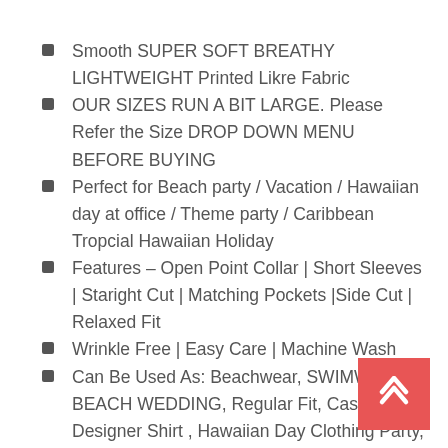Smooth SUPER SOFT BREATHY LIGHTWEIGHT Printed Likre Fabric
OUR SIZES RUN A BIT LARGE. Please Refer the Size DROP DOWN MENU BEFORE BUYING
Perfect for Beach party / Vacation / Hawaiian day at office / Theme party / Caribbean Tropcial Hawaiian Holiday
Features – Open Point Collar | Short Sleeves | Staright Cut | Matching Pockets |Side Cut | Relaxed Fit
Wrinkle Free | Easy Care | Machine Wash
Can Be Used As: Beachwear, SWIMWEAR, BEACH WEDDING, Regular Fit, Casual Designer Shirt , Hawaiian Day Clothing Party, Aloha , Tropical , Caribbean EVENING Theme Fiesta, BACHELOR Stag PARTY, Uniform, CRUISE, LOUNGE WEAR, CAMP, LUAU Wear, Classic, Relaxed Playa Camisa Shirts, Nig r, GIFT FOR BOYFRIEND, Father, Husband, Grandson,